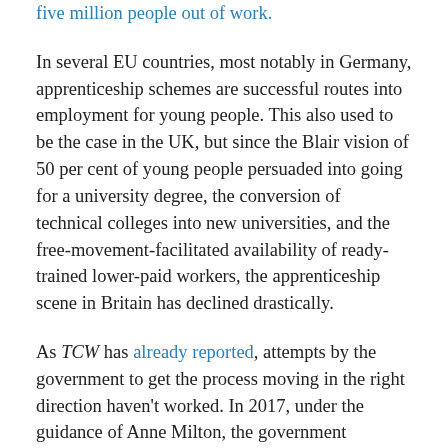five million people out of work.
In several EU countries, most notably in Germany, apprenticeship schemes are successful routes into employment for young people. This also used to be the case in the UK, but since the Blair vision of 50 per cent of young people persuaded into going for a university degree, the conversion of technical colleges into new universities, and the free-movement-facilitated availability of ready-trained lower-paid workers, the apprenticeship scene in Britain has declined drastically.
As TCW has already reported, attempts by the government to get the process moving in the right direction haven't worked. In 2017, under the guidance of Anne Milton, the government introduced a new strategy to kick-start the